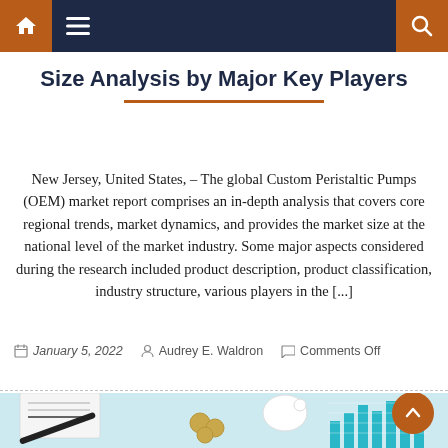Navigation bar with home icon, menu icon, and search icon
Size Analysis by Major Key Players
New Jersey, United States, – The global Custom Peristaltic Pumps (OEM) market report comprises an in-depth analysis that covers core regional trends, market dynamics, and provides the market size at the national level of the market industry. Some major aspects considered during the research included product description, product classification, industry structure, various players in the [...]
January 5, 2022   Audrey E. Waldron   Comments Off
[Figure (photo): Bottom portion of a financial/business themed photo showing a notepad with 'Success' text, a pen, coins, a piggy bank, and a teal bar chart graphic on a light blue background.]